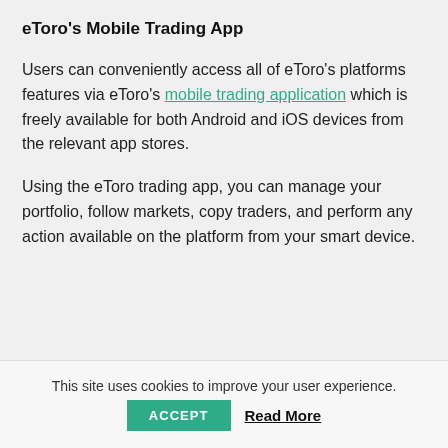eToro's Mobile Trading App
Users can conveniently access all of eToro's platforms features via eToro's mobile trading application which is freely available for both Android and iOS devices from the relevant app stores.
Using the eToro trading app, you can manage your portfolio, follow markets, copy traders, and perform any action available on the platform from your smart device.
This site uses cookies to improve your user experience.
ACCEPT   Read More